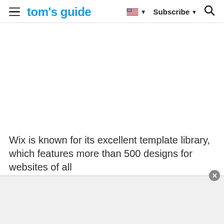tom's guide — Subscribe
[Figure (screenshot): Large white empty content area, likely an advertisement or image placeholder]
Wix is known for its excellent template library, which features more than 500 designs for websites of all
[Figure (other): Gray ad banner at the bottom with a close (X) button in the top-right corner]